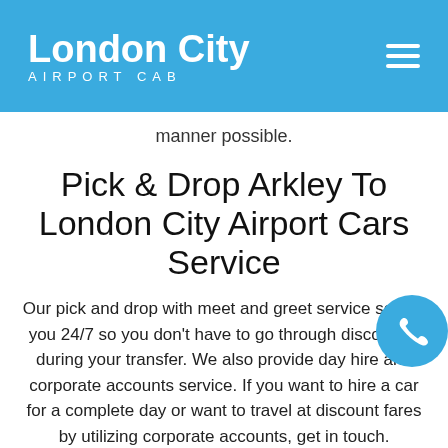London City AIRPORT CAB
manner possible.
Pick & Drop Arkley To London City Airport Cars Service
Our pick and drop with meet and greet service serves you 24/7 so you don't have to go through discomfort during your transfer. We also provide day hire and corporate accounts service. If you want to hire a car for a complete day or want to travel at discount fares by utilizing corporate accounts, get in touch.
The best part of our services is you don't need to go anywhere to book your Arkley to London City airport car. Just download our mobile app and stay in touch with us wherever you go. And if you want to get the